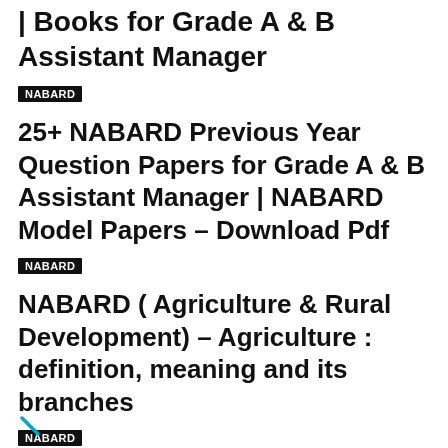and Rural Development, Free Pdf | Notes | Books for Grade A & B Assistant Manager
NABARD
25+ NABARD Previous Year Question Papers for Grade A & B Assistant Manager | NABARD Model Papers – Download Pdf
NABARD
NABARD ( Agriculture & Rural Development) – Agriculture : definition, meaning and its branches
NABARD
50+ NABARD Development Assistant Previous Year Question Papers | NABARD Model Papers – Download Pdf